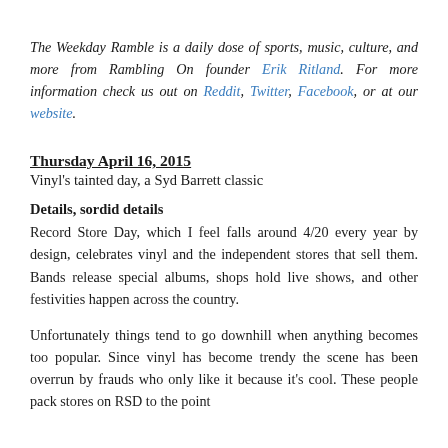The Weekday Ramble is a daily dose of sports, music, culture, and more from Rambling On founder Erik Ritland. For more information check us out on Reddit, Twitter, Facebook, or at our website.
Thursday April 16, 2015
Vinyl's tainted day, a Syd Barrett classic
Details, sordid details
Record Store Day, which I feel falls around 4/20 every year by design, celebrates vinyl and the independent stores that sell them. Bands release special albums, shops hold live shows, and other festivities happen across the country.
Unfortunately things tend to go downhill when anything becomes too popular. Since vinyl has become trendy the scene has been overrun by frauds who only like it because it's cool. These people pack stores on RSD to the point